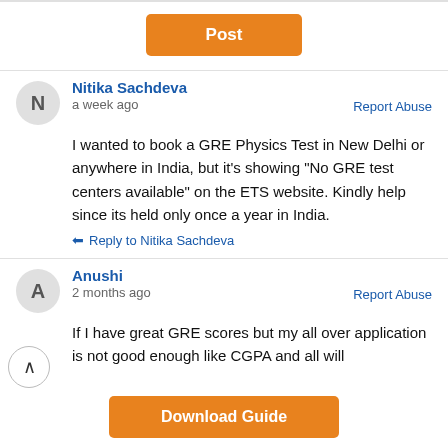Post
Nitika Sachdeva
a week ago
Report Abuse
I wanted to book a GRE Physics Test in New Delhi or anywhere in India, but it's showing "No GRE test centers available" on the ETS website. Kindly help since its held only once a year in India.
Reply to Nitika Sachdeva
Anushi
2 months ago
Report Abuse
If I have great GRE scores but my all over application is not good enough like CGPA and all will
Download Guide